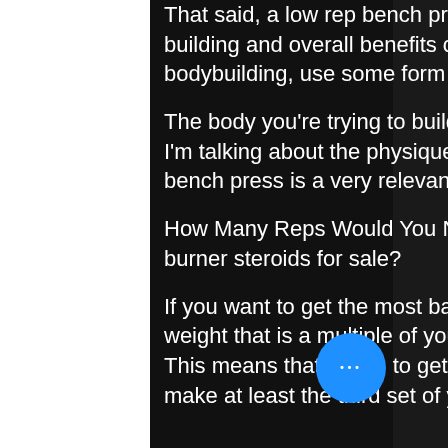That said, a low rep bench press might be the key for the muscle-building and overall benefits of steroids, but if you're using steroids for bodybuilding, use some form of a weighted dumbbell.
The body you're trying to build depends on it, orderlegalsteroids. When I'm talking about the physique that steroid use helps build, a weighted bench press is a very relevant training method.
How Many Reps Would You Need for Your Bench Press Workout, fat burner steroids for sale?
If you want to get the most bang for your buck, you'll want to pick a weight that is a multiple of your one rep max (1RM) for bench pressing. This means that if you to get the most bang for your buck, you need to make at least the third set of your